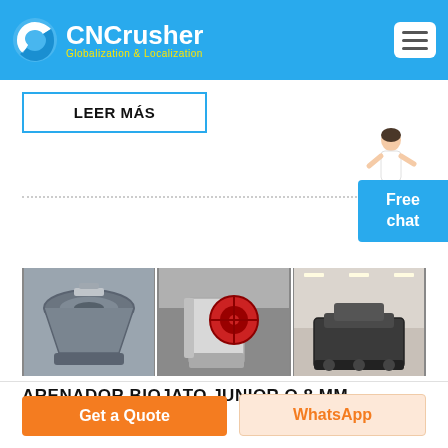CNCrusher Globalization & Localization
LEER MÁS
[Figure (photo): Three industrial crusher machine photos side by side: left shows a cone crusher top view (grey metal), center shows a jaw crusher with red flywheel in a factory, right shows a heavy industrial machine in a warehouse.]
ARENADOR BIOJATO JUNIOR O 8 MM
Get a Quote
WhatsApp